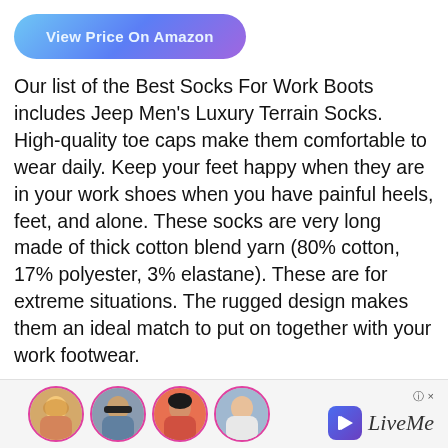[Figure (other): Blue-purple gradient pill-shaped button labeled 'View Price On Amazon']
Our list of the Best Socks For Work Boots includes Jeep Men's Luxury Terrain Socks. High-quality toe caps make them comfortable to wear daily. Keep your feet happy when they are in your work shoes when you have painful heels, feet, and alone. These socks are very long made of thick cotton blend yarn (80% cotton, 17% polyester, 3% elastane). These are for extreme situations. The rugged design makes them an ideal match to put on together with your work footwear.
Read More: 7 Best Socks For Steel Toe Boots
[Figure (other): LiveMe advertisement bar with four circular avatar photos and the LiveMe logo]